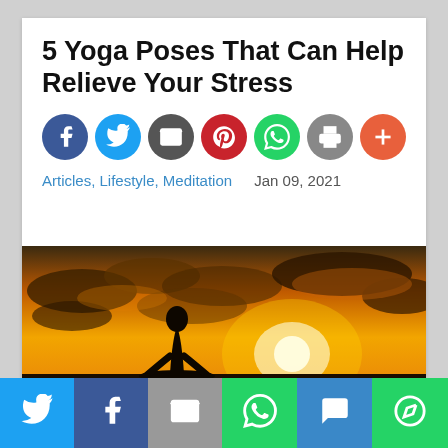5 Yoga Poses That Can Help Relieve Your Stress
[Figure (infographic): Seven social sharing icon circles: Facebook (blue), Twitter (light blue), Email (dark gray), Pinterest (red), WhatsApp (green), Print (gray), More/Plus (orange-red)]
Articles, Lifestyle, Meditation   Jan 09, 2021
[Figure (photo): Silhouette of a person meditating in lotus pose against a dramatic sunset sky with orange and golden clouds]
[Figure (infographic): Bottom sharing bar with icons: Twitter (blue), Facebook (dark blue), Email (gray), WhatsApp (green), SMS (blue), More (green)]